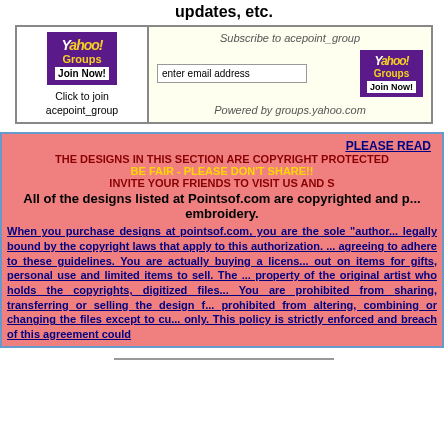updates, etc.
[Figure (screenshot): Yahoo Groups subscription widget with logo, email input field, and join button. Left side shows 'Click to join acepoint_group', right side shows 'Subscribe to acepoint_group', email input, Yahoo Groups logo, and 'Powered by groups.yahoo.com']
PLEASE READ
THE DESIGNS IN THIS SECTION ARE COPYRIGHT PROTECTED
BE FAIR - PLEASE DON'T SHARE!!
INVITE YOUR FRIENDS TO VISIT US AND S...
All of the designs listed at Pointsof.com are copyrighted and p... embroidery.
When you purchase designs at pointsof.com, you are the sole "author... legally bound by the copyright laws that apply to this authorization. ... agreeing to adhere to these guidelines. You are actually buying a licens... out on items for gifts, personal use and limited items to sell. The ... property of the original artist who holds the copyrights, digitized files... You are prohibited from sharing, transferring or selling the design f... prohibited from altering, combining or changing the files except to cu... only. This policy is strictly enforced and breach of this agreement could